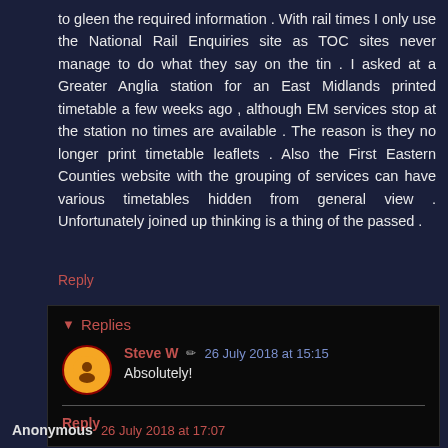to gleen the required information . With rail times I only use the National Rail Enquiries site as TOC sites never manage to do what they say on the tin . I asked at a Greater Anglia station for an East Midlands printed timetable a few weeks ago , although EM services stop at the station no times are available . The reason is they no longer print timetable leaflets . Also the First Eastern Counties website with the grouping of services can have various timetables hidden from general view . Unfortunately joined up thinking is a thing of the passed .
Reply
Replies
Steve W  26 July 2018 at 15:15
Absolutely!
Reply
Anonymous  26 July 2018 at 17:07